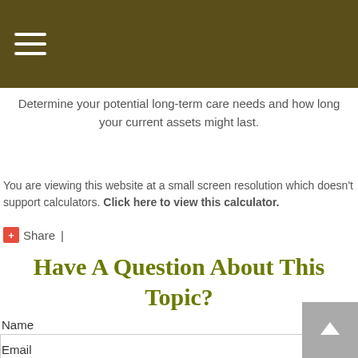Determine your potential long-term care needs and how long your current assets might last.
You are viewing this website at a small screen resolution which doesn't support calculators. Click here to view this calculator.
+ Share |
Have A Question About This Topic?
Name
Email